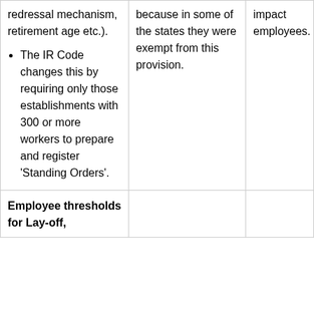| redressal mechanism, retirement age etc.).
• The IR Code changes this by requiring only those establishments with 300 or more workers to prepare and register 'Standing Orders'. | because in some of the states they were exempt from this provision. | impact employees. |
| Employee thresholds for Lay-off, |  |  |